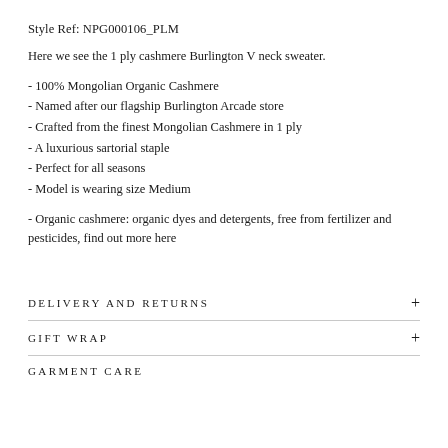Style Ref: NPG000106_PLM
Here we see the 1 ply cashmere Burlington V neck sweater.
- 100% Mongolian Organic Cashmere
- Named after our flagship Burlington Arcade store
- Crafted from the finest Mongolian Cashmere in 1 ply
- A luxurious sartorial staple
- Perfect for all seasons
- Model is wearing size Medium
- Organic cashmere: organic dyes and detergents, free from fertilizer and pesticides, find out more here
DELIVERY AND RETURNS
GIFT WRAP
GARMENT CARE